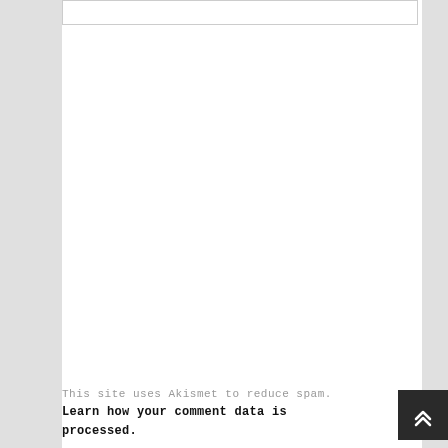[Figure (screenshot): Empty white input/text box at the top of the content area]
This site uses Akismet to reduce spam. Learn how your comment data is processed.